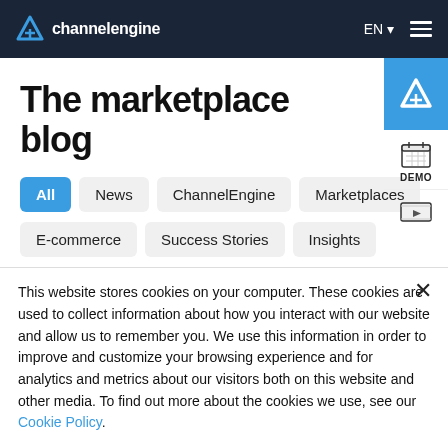channelengine — navigation bar with EN language selector and hamburger menu
The marketplace blog
All
News
ChannelEngine
Marketplaces
E-commerce
Success Stories
Insights
This website stores cookies on your computer. These cookies are used to collect information about how you interact with our website and allow us to remember you. We use this information in order to improve and customize your browsing experience and for analytics and metrics about our visitors both on this website and other media. To find out more about the cookies we use, see our Cookie Policy.